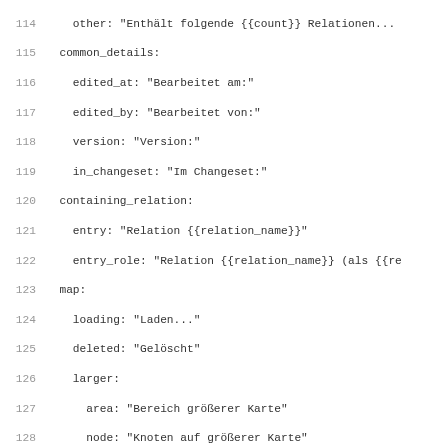Code listing lines 114-146, YAML localization file (German)
114   other: "Enthält folgende {{count}} Relationen..."
115   common_details:
116     edited_at: "Bearbeitet am:"
117     edited_by: "Bearbeitet von:"
118     version: "Version:"
119     in_changeset: "Im Changeset:"
120   containing_relation:
121     entry: "Relation {{relation_name}}"
122     entry_role: "Relation {{relation_name}} (als {{re
123   map:
124     loading: "Laden..."
125     deleted: "Gelöscht"
126     larger:
127       area: "Bereich größerer Karte"
128       node: "Knoten auf größerer Karte"
129       way: "Weg auf größerer Karte"
130       relation: "Relation auf größerer Karte"
131   node_details:
132     coordinates: "Koordinaten: "
133     part_of: "Teil von:"
134   node_history:
135     node_history: "Knoten-Chronik"
136     node_history_title: "Knoten-Chronik: {{node_name}
137     download: "{{download_xml_link}} oder {{view_deta
138     download_xml: "XML herunterladen"
139     view_details: "Detailseite anzeigen"
140   node:
141     node: "Knoten"
142     node_title: "Knoten: {{node_name}}"
143     download: "{{download_xml_link}}, {{view_history_
144     download_xml: "XML herunterladen"
145     view_history: "Chronik anzeigen"
146     edit: "Bearbeiten"